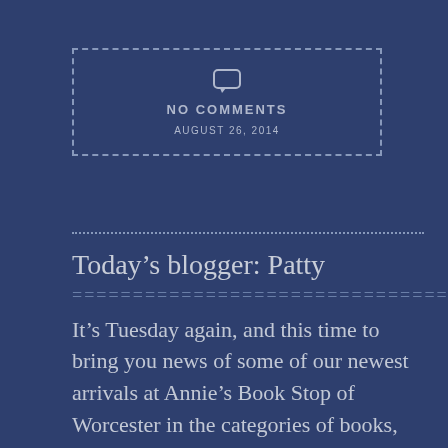[Figure (infographic): Dashed-border box with a speech bubble/comment icon, text 'NO COMMENTS' and date 'AUGUST 26, 2014']
Today's blogger: Patty
================================
It's Tuesday again, and this time to bring you news of some of our newest arrivals at Annie's Book Stop of Worcester in the categories of books, audio dramas, and magazines. This month's Big Finish release in the